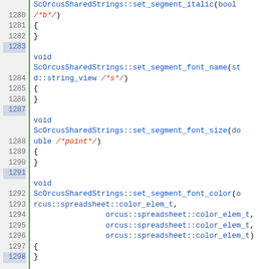[Figure (screenshot): Source code viewer showing C++ method stubs for ScOrcusSharedStrings class, lines 1280-1304, with line numbers on the left, green vertical bar separator, and syntax-highlighted code on the right.]